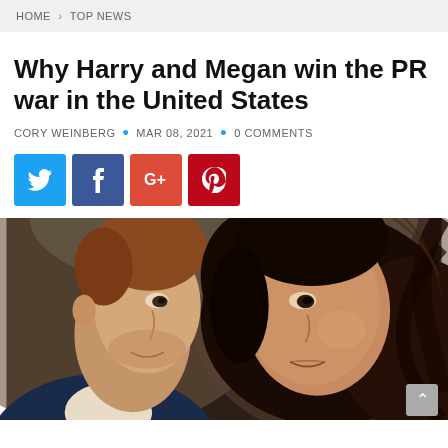HOME > TOP NEWS
Why Harry and Megan win the PR war in the United States
CORY WEINBERG • MAR 08, 2021 • 0 COMMENTS
[Figure (infographic): Social media share buttons: Twitter (blue), Facebook (dark blue), Google+ (red), Pinterest (dark red)]
[Figure (photo): Close-up photo of Prince Harry (left, in dark blue suit) and Meghan Markle (right, with dark hair) looking forward]